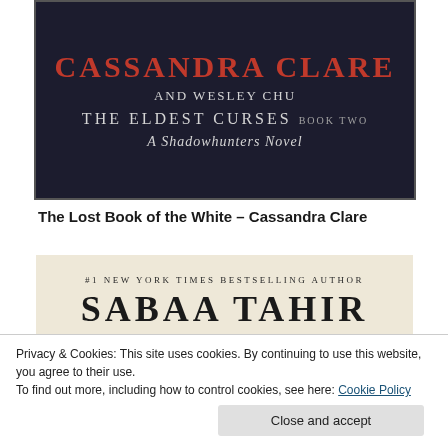[Figure (photo): Book cover for 'The Lost Book of the White' by Cassandra Clare and Wesley Chu, The Eldest Curses Book Two, A Shadowhunters Novel. Dark background with red and grey text.]
The Lost Book of the White – Cassandra Clare
[Figure (photo): Book cover snippet showing '#1 New York Times Bestselling Author Sabaa Tahir' with a partial circular design element below.]
Privacy & Cookies: This site uses cookies. By continuing to use this website, you agree to their use.
To find out more, including how to control cookies, see here: Cookie Policy